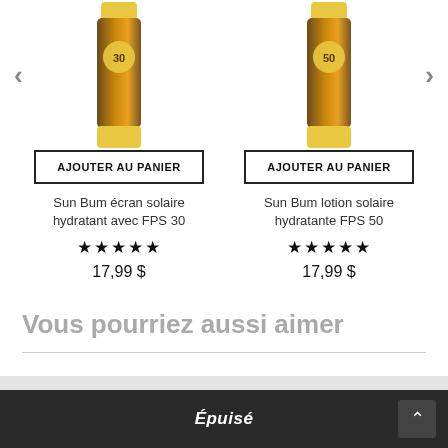[Figure (photo): Sun Bum sunscreen tube SPF 30 product image]
[Figure (photo): Sun Bum sunscreen lotion SPF 50 product image]
AJOUTER AU PANIER
AJOUTER AU PANIER
Sun Bum écran solaire hydratant avec FPS 30
Sun Bum lotion solaire hydratante FPS 50
★★★★★
★★★★★
17,99 $
17,99 $
Vous pourriez aussi aimer
Épuisé